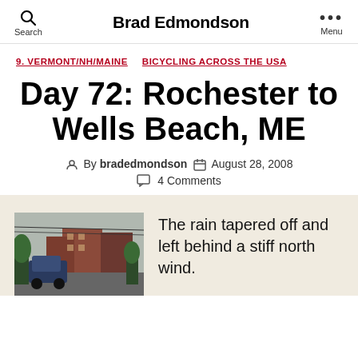Brad Edmondson
9. VERMONT/NH/MAINE   BICYCLING ACROSS THE USA
Day 72: Rochester to Wells Beach, ME
By bradedmondson   August 28, 2008   4 Comments
The rain tapered off and left behind a stiff north wind.
[Figure (photo): Photo of a street scene with buildings and a vehicle]